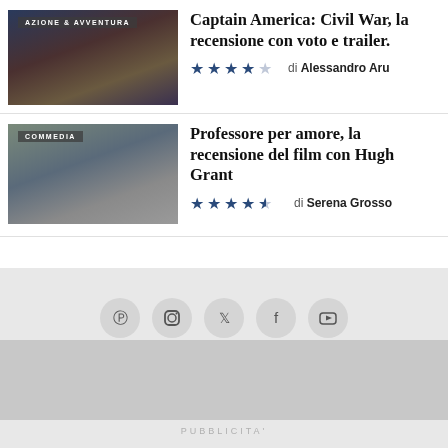[Figure (photo): Movie poster thumbnail for Captain America: Civil War with genre label AZIONE & AVVENTURA]
Captain America: Civil War, la recensione con voto e trailer.
★★★★☆ di Alessandro Aru
[Figure (photo): Movie still thumbnail for Professore per amore with genre label COMMEDIA]
Professore per amore, la recensione del film con Hugh Grant
★★★★½ di Serena Grosso
[Figure (other): Social media icons row: Pinterest, Instagram, Twitter, Facebook, YouTube]
PUBBLICITA'